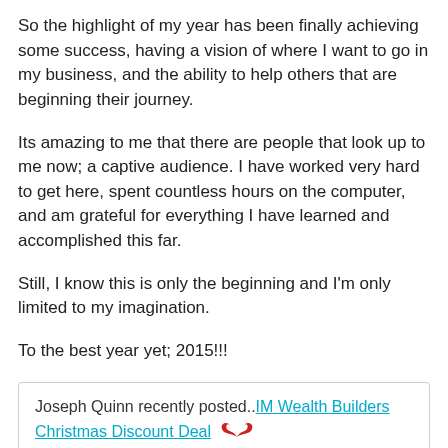So the highlight of my year has been finally achieving some success, having a vision of where I want to go in my business, and the ability to help others that are beginning their journey.
Its amazing to me that there are people that look up to me now; a captive audience. I have worked very hard to get here, spent countless hours on the computer, and am grateful for everything I have learned and accomplished this far.
Still, I know this is only the beginning and I'm only limited to my imagination.
To the best year yet; 2015!!!
Joseph Quinn recently posted..IM Wealth Builders Christmas Discount Deal